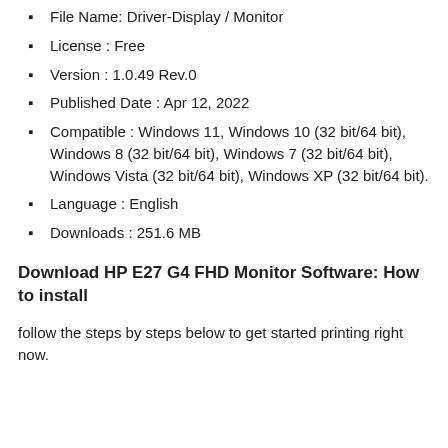File Name: Driver-Display / Monitor
License : Free
Version : 1.0.49 Rev.0
Published Date : Apr 12, 2022
Compatible : Windows 11, Windows 10 (32 bit/64 bit), Windows 8 (32 bit/64 bit), Windows 7 (32 bit/64 bit), Windows Vista (32 bit/64 bit), Windows XP (32 bit/64 bit).
Language : English
Downloads : 251.6 MB
Download HP E27 G4 FHD Monitor Software: How to install
follow the steps by steps below to get started printing right now.